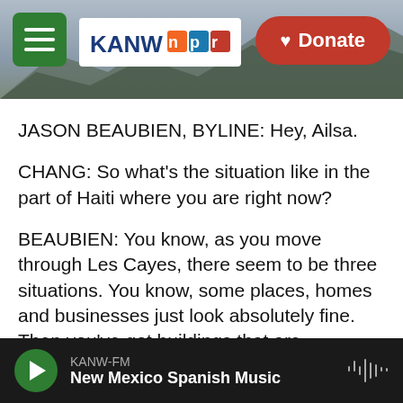[Figure (screenshot): KANW NPR radio website header with mountain landscape background, green hamburger menu button, KANW NPR logo, and red Donate button]
JASON BEAUBIEN, BYLINE: Hey, Ailsa.
CHANG: So what's the situation like in the part of Haiti where you are right now?
BEAUBIEN: You know, as you move through Les Cayes, there seem to be three situations. You know, some places, homes and businesses just look absolutely fine. Then you've got buildings that are damaged, where people are clearing rubble and trying to move debris out of their yards. And then you've got houses that are just totally collapsed altogether and are now just heaps of cinder blocks
KANW-FM
New Mexico Spanish Music